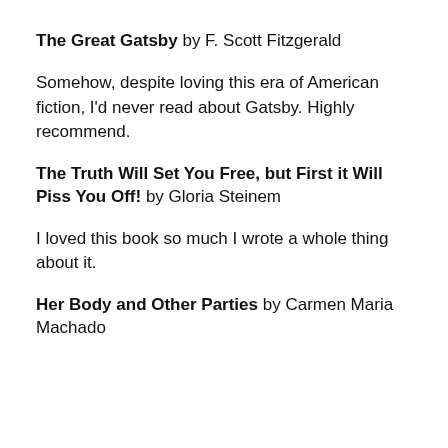The Great Gatsby by F. Scott Fitzgerald
Somehow, despite loving this era of American fiction, I'd never read about Gatsby. Highly recommend.
The Truth Will Set You Free, but First it Will Piss You Off! by Gloria Steinem
I loved this book so much I wrote a whole thing about it.
Her Body and Other Parties by Carmen Maria Machado